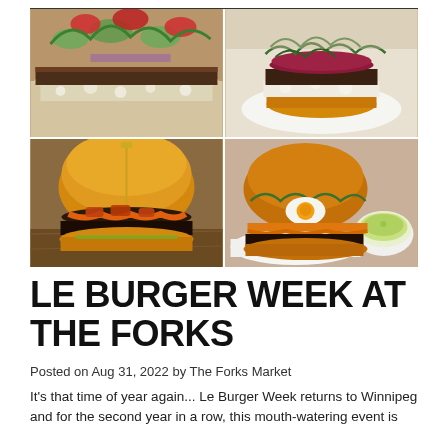[Figure (photo): A 2x2 grid of four burger photos: top-left shows a close-up of a burger with blue cheese and fresh vegetable salsa; top-right shows a burger with beet, arugula and white cheese; bottom-left shows a classic double smash burger with melted cheese and crispy toppings; bottom-right shows a burger with fried egg, arugula, and cheddar served with a bowl of sauce on a white plate.]
LE BURGER WEEK AT THE FORKS
Posted on Aug 31, 2022 by The Forks Market
It's that time of year again... Le Burger Week returns to Winnipeg and for the second year in a row, this mouth-watering event is